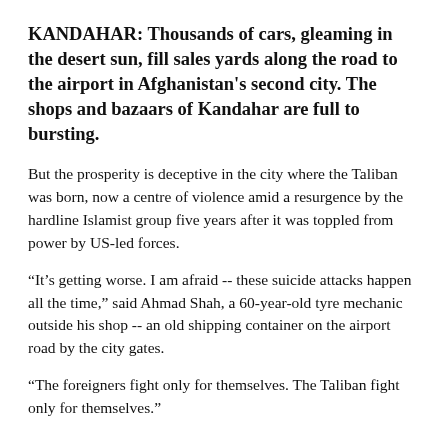KANDAHAR: Thousands of cars, gleaming in the desert sun, fill sales yards along the road to the airport in Afghanistan's second city. The shops and bazaars of Kandahar are full to bursting.
But the prosperity is deceptive in the city where the Taliban was born, now a centre of violence amid a resurgence by the hardline Islamist group five years after it was toppled from power by US-led forces.
“It's getting worse. I am afraid -- these suicide attacks happen all the time,” said Ahmad Shah, a 60-year-old tyre mechanic outside his shop -- an old shipping container on the airport road by the city gates.
“The foreigners fight only for themselves. The Taliban fight only for themselves.”